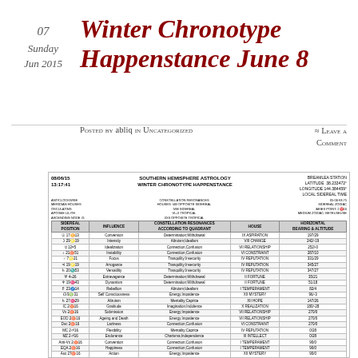07
Sunday
Jun 2015
Winter Chronotype Happenstance June 8
Posted by abliq in Uncategorized
≈ Leave a comment
[Figure (table-as-image): Southern Hemisphere Astrology - Winter Chronotype Happenstance astrological table dated 08/06/15 13:17:41, showing sidereal positions, influences, constellation resonances, houses, and horizontal bearings for various celestial bodies and points.]